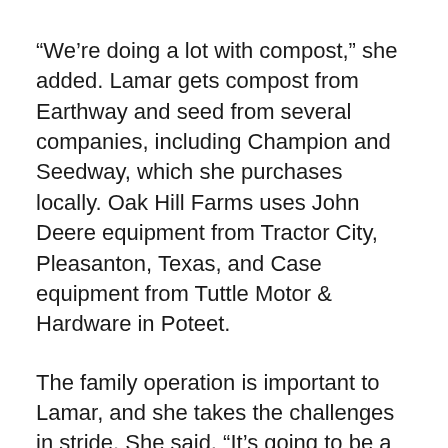“We’re doing a lot with compost,” she added. Lamar gets compost from Earthway and seed from several companies, including Champion and Seedway, which she purchases locally. Oak Hill Farms uses John Deere equipment from Tractor City, Pleasanton, Texas, and Case equipment from Tuttle Motor & Hardware in Poteet.
The family operation is important to Lamar, and she takes the challenges in stride. She said, “It’s going to be a hungry world, and I want to leave this to my kids to keep it going.” l
Nancy Riggs is a freelance writer from Mount Zion, Ill.